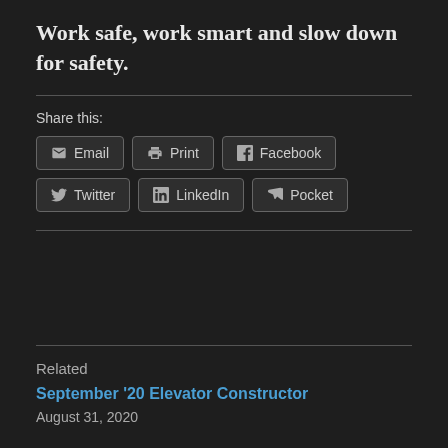Work safe, work smart and slow down for safety.
Share this:
Email | Print | Facebook | Twitter | LinkedIn | Pocket
Related
September '20 Elevator Constructor
August 31, 2020